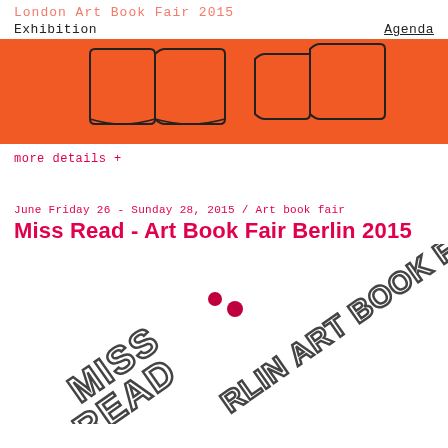London Art Book Fair 2015
Exhibition    Agenda
[Figure (illustration): Orange rectangular banner with abstract line art depicting open books in outline style on orange background]
more details +
June Friday 26 - Sunday 28, 2015 / Art book fair
Miss Read - Art Book Fair Berlin 2015
[Figure (logo): Miss Read Berlin Art Book Fair logo with large outlined block letters arranged diagonally, with two red dots]